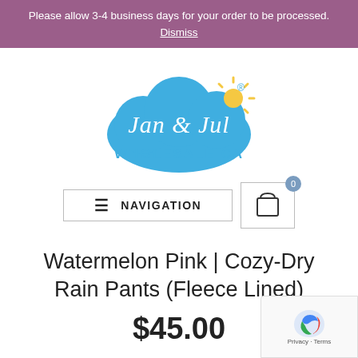Please allow 3-4 business days for your order to be processed. Dismiss
[Figure (logo): Jan & Jul Wholesale CA logo: blue cloud with white cursive text 'Jan & Jul' and a sun, with 'WHOLESALE CA' in blue below]
≡  NAVIGATION   🛍 0
Watermelon Pink | Cozy-Dry Rain Pants (Fleece Lined)
$45.00